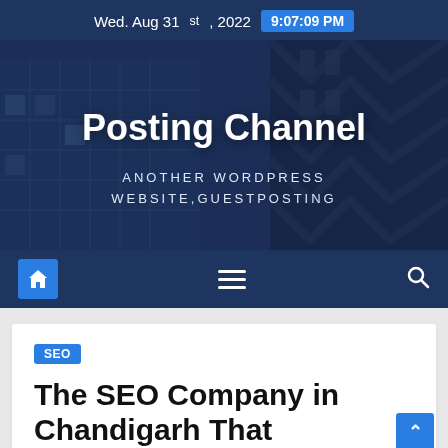Wed. Aug 31st, 2022  9:07:09 PM
[Figure (screenshot): Hero banner with building photo background, title 'Posting Channel' and tagline 'ANOTHER WORDPRESS WEBSITE,GUESTPOSTING']
Posting Channel
ANOTHER WORDPRESS WEBSITE,GUESTPOSTING
[Figure (infographic): Navigation bar with home icon, hamburger menu, and search icon on dark blue background]
SEO
The SEO Company in Chandigarh That